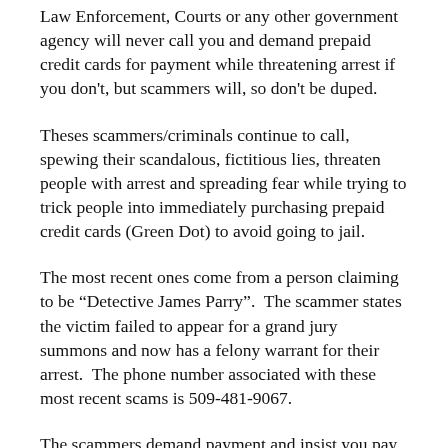Law Enforcement, Courts or any other government agency will never call you and demand prepaid credit cards for payment while threatening arrest if you don't, but scammers will, so don't be duped.
Theses scammers/criminals continue to call, spewing their scandalous, fictitious lies, threaten people with arrest and spreading fear while trying to trick people into immediately purchasing prepaid credit cards (Green Dot) to avoid going to jail.
The most recent ones come from a person claiming to be “Detective James Parry”.  The scammer states the victim failed to appear for a grand jury summons and now has a felony warrant for their arrest.  The phone number associated with these most recent scams is 509-481-9067.
The scammers demand payment and insist you pay your “fine” immediately.  Through threats and